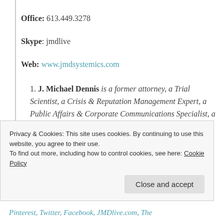Office: 613.449.3278
Skype: jmdlive
Web: www.jmdsystemics.com
J. Michael Dennis is a former attorney, a Trial Scientist, a Crisis & Reputation Management Expert, a Public Affairs & Corporate Communications Specialist, a Warrior for
Privacy & Cookies: This site uses cookies. By continuing to use this website, you agree to their use. To find out more, including how to control cookies, see here: Cookie Policy
Close and accept
Pinterest, Twitter, Facebook, JMDlive.com, The